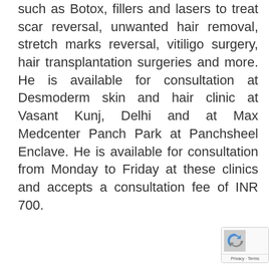such as Botox, fillers and lasers to treat scar reversal, unwanted hair removal, stretch marks reversal, vitiligo surgery, hair transplantation surgeries and more. He is available for consultation at Desmoderm skin and hair clinic at Vasant Kunj, Delhi and at Max Medcenter Panch Park at Panchsheel Enclave. He is available for consultation from Monday to Friday at these clinics and accepts a consultation fee of INR 700.
[Figure (logo): reCAPTCHA badge with Google logo and Privacy - Terms text]